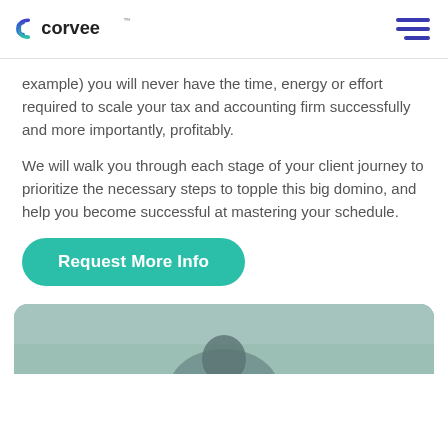corvee
example) you will never have the time, energy or effort required to scale your tax and accounting firm successfully and more importantly, profitably.
We will walk you through each stage of your client journey to prioritize the necessary steps to topple this big domino, and help you become successful at mastering your schedule.
[Figure (other): Teal rounded button labeled 'Request More Info']
[Figure (photo): Bottom portion of a photo showing a person outdoors, partially visible]